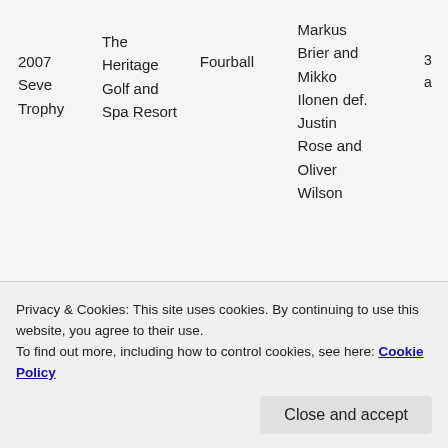| Year | Venue | Format | Result | Score |
| --- | --- | --- | --- | --- |
| 2007 Seve Trophy | The Heritage Golf and Spa Resort | Fourball | Markus Brier and Mikko Ilonen def. Justin Rose and Oliver Wilson | 3 a |
|  | The |  | Oliver Wilson and Simon | a |
Privacy & Cookies: This site uses cookies. By continuing to use this website, you agree to their use.
To find out more, including how to control cookies, see here: Cookie Policy